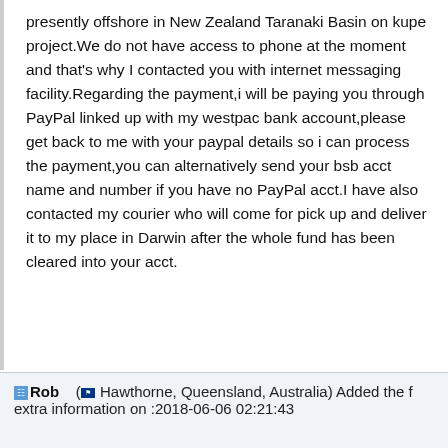presently offshore in New Zealand Taranaki Basin on kupe project.We do not have access to phone at the moment and that's why I contacted you with internet messaging facility.Regarding the payment,i will be paying you through PayPal linked up with my westpac bank account,please get back to me with your paypal details so i can process the payment,you can alternatively send your bsb acct name and number if you have no PayPal acct.I have also contacted my courier who will come for pick up and deliver it to my place in Darwin after the whole fund has been cleared into your acct.
Rob   ( Hawthorne, Queensland, Australia) Added the extra information on :2018-06-06 02:21:43